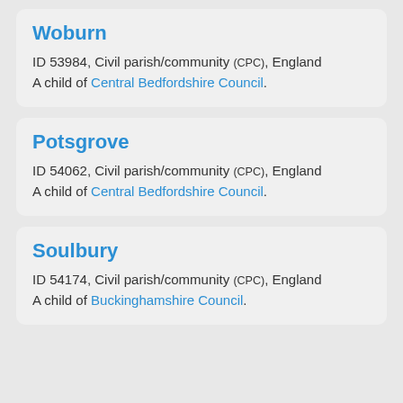Woburn
ID 53984, Civil parish/community (CPC), England
A child of Central Bedfordshire Council.
Potsgrove
ID 54062, Civil parish/community (CPC), England
A child of Central Bedfordshire Council.
Soulbury
ID 54174, Civil parish/community (CPC), England
A child of Buckinghamshire Council.